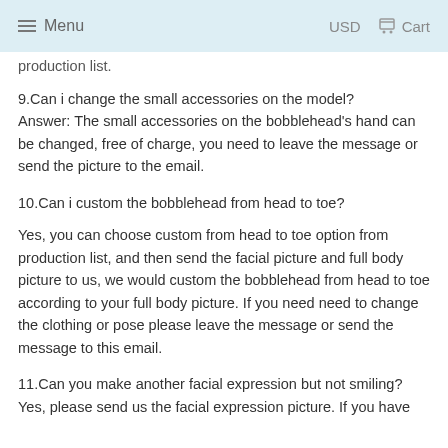Menu   USD   Cart
production list.
9.Can i change the small accessories on the model? Answer: The small accessories on the bobblehead's hand can be changed, free of charge, you need to leave the message or send the picture to the email.
10.Can i custom the bobblehead from head to toe?
Yes, you can choose custom from head to toe option from production list, and then send the facial picture and full body picture to us, we would custom the bobblehead from head to toe according to your full body picture. If you need need to change the clothing or pose please leave the message or send the message to this email.
11.Can you make another facial expression but not smiling? Yes, please send us the facial expression picture. If you have